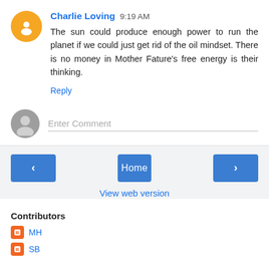Charlie Loving 9:19 AM
The sun could produce enough power to run the planet if we could just get rid of the oil mindset. There is no money in Mother Fature's free energy is their thinking.
Reply
Enter Comment
Home
View web version
Contributors
MH
SB